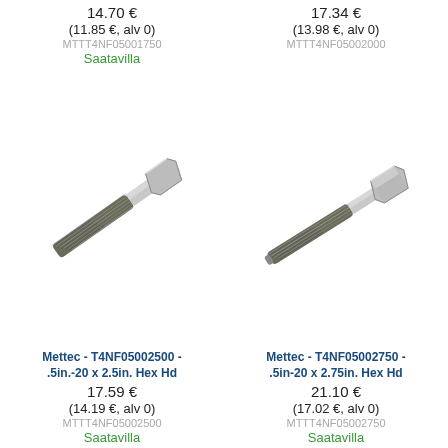14.70 €
(11.85 €, alv 0)
MTTT4NF05001750
Saatavilla
17.34 €
(13.98 €, alv 0)
MTTT4NF05002000
[Figure (photo): Stainless steel hex head bolt, .5in.-20 x 2.5in., diagonal view showing threaded shaft and hex head]
[Figure (photo): Stainless steel hex head bolt, .5in-20 x 2.75in., diagonal view showing threaded shaft and hex head]
Mettec - T4NF05002500 - .5in.-20 x 2.5in. Hex Hd
17.59 €
(14.19 €, alv 0)
MTTT4NF05002500
Saatavilla
Mettec - T4NF05002750 - .5in-20 x 2.75in. Hex Hd
21.10 €
(17.02 €, alv 0)
MTTT4NF05002750
Saatavilla